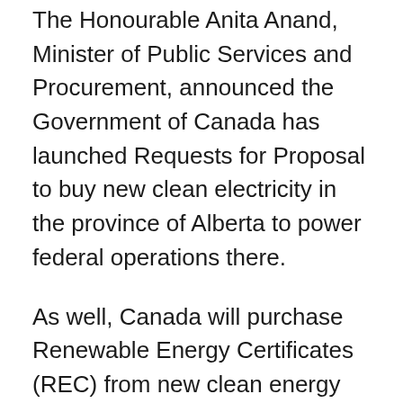The Honourable Anita Anand, Minister of Public Services and Procurement, announced the Government of Canada has launched Requests for Proposal to buy new clean electricity in the province of Alberta to power federal operations there.
As well, Canada will purchase Renewable Energy Certificates (REC) from new clean energy generation in Canada. This will enable Canada to attribute its energy consumption as clean in regions where new clean renewable sources are not yet available. The Government of Canada is excited about this